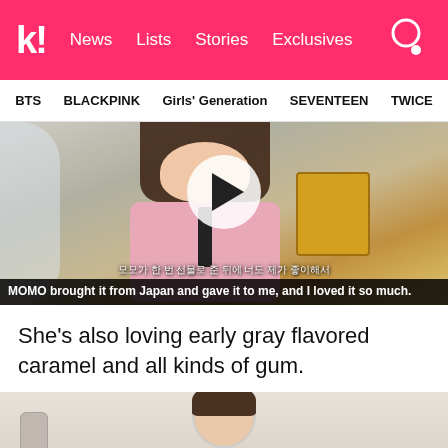k! News Lists Stories Exclusives
BTS   BLACKPINK   Girls' Generation   SEVENTEEN   TWICE
[Figure (screenshot): Video thumbnail of a person holding a yellow snack package with a play button overlay. Korean subtitle: 모모가 한 번 선물로 준 뒤에 너도 제가 좋아해서. English subtitle: MOMO brought it from Japan and gave it to me, and I loved it so much.]
She's also loving early gray flavored caramel and all kinds of gum.
[Figure (screenshot): Video thumbnail of a person holding up a small package (gum) with both hands near their face.]